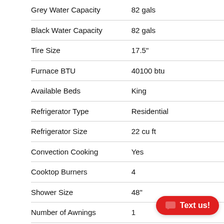| Feature | Value |
| --- | --- |
| Grey Water Capacity | 82 gals |
| Black Water Capacity | 82 gals |
| Tire Size | 17.5" |
| Furnace BTU | 40100 btu |
| Available Beds | King |
| Refrigerator Type | Residential |
| Refrigerator Size | 22 cu ft |
| Convection Cooking | Yes |
| Cooktop Burners | 4 |
| Shower Size | 48" |
| Number of Awnings | 1 |
| Axle Weight | 8000 lbs |
| LP Tank Capacity | 30 lbs |
| Water Heater Capacity | 12… |
| Water Heater Type | Energy Efficient DSL |